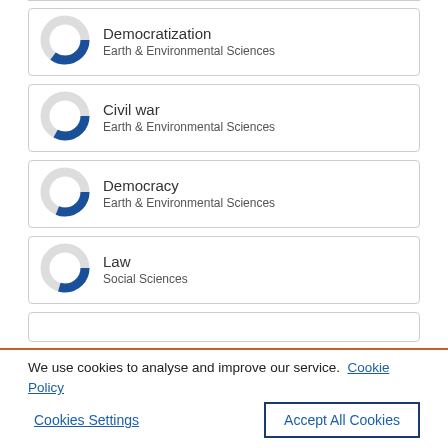Democratization
Earth & Environmental Sciences
Civil war
Earth & Environmental Sciences
Democracy
Earth & Environmental Sciences
Law
Social Sciences
We use cookies to analyse and improve our service. Cookie Policy
Cookies Settings
Accept All Cookies